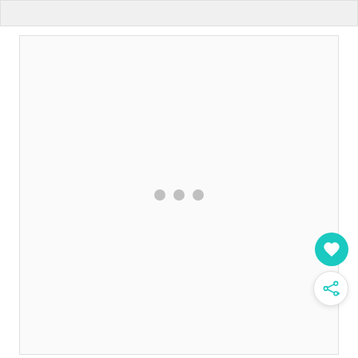[Figure (screenshot): Loading screen with a gray top banner and a large white card area with three gray loading dots in the center, plus a teal heart FAB button and a white share FAB button on the right side.]